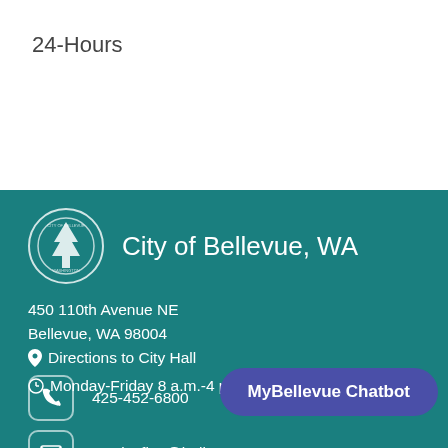24-Hours
[Figure (logo): City of Bellevue, WA circular seal logo with tree design]
City of Bellevue, WA
450 110th Avenue NE
Bellevue, WA 98004
📍 Directions to City Hall
🕐 Monday-Friday 8 a.m.-4 p.m.
425-452-6800
servicefirst@bellevuewa.gov
MyBellevue Customer Assi...
Contact Us / Employee Directory
Careers
MyBellevue Chatbot